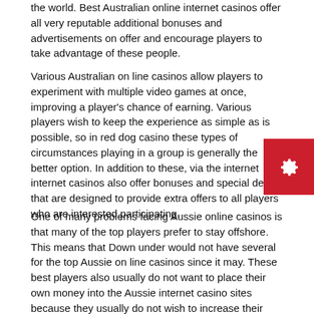the world. Best Australian online internet casinos offer all very reputable additional bonuses and advertisements on offer and encourage players to take advantage of these people.
Various Australian on line casinos allow players to experiment with multiple video games at once, improving a player's chance of earning. Various players wish to keep the experience as simple as is possible, so in red dog casino these types of circumstances playing in a group is generally the better option. In addition to these, via the internet internet casinos also offer bonuses and special deals that are designed to provide extra offers to all players who are interested participating.
One of many problems facing Aussie online casinos is that many of the top players prefer to stay offshore. This means that Down under would not have several for the top Aussie on line casinos since it may. These best players also usually do not want to place their own money into the Aussie internet casino sites because they usually do not wish to increase their risk, meaning that the Australian online casinos are experiencing to look for innovative ways to draw players.